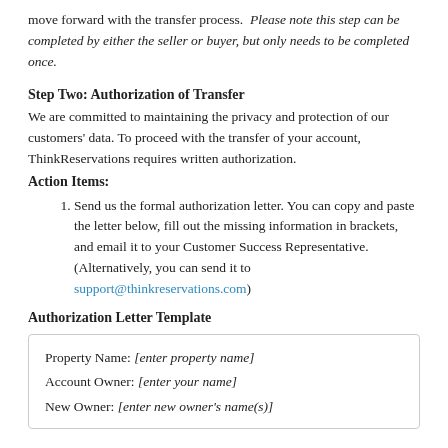move forward with the transfer process. Please note this step can be completed by either the seller or buyer, but only needs to be completed once.
Step Two: Authorization of Transfer
We are committed to maintaining the privacy and protection of our customers' data. To proceed with the transfer of your account, ThinkReservations requires written authorization.
Action Items:
Send us the formal authorization letter. You can copy and paste the letter below, fill out the missing information in brackets, and email it to your Customer Success Representative. (Alternatively, you can send it to support@thinkreservations.com)
Authorization Letter Template
Property Name: [enter property name]
Account Owner: [enter your name]
New Owner: [enter new owner's name(s)]